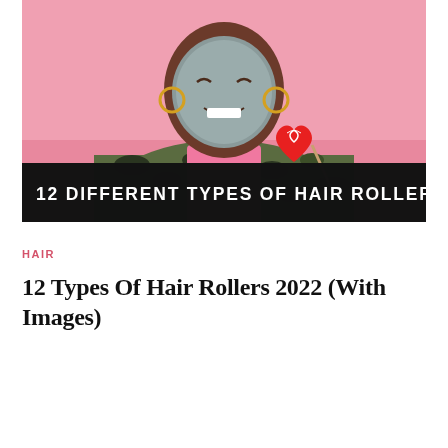[Figure (photo): Photo of a smiling person wearing a gray clay face mask, camo jacket over a pink shirt, holding a heart-shaped red lollipop, posed against a pink background. Over the bottom of the image is a black banner with white text reading '12 DIFFERENT TYPES OF HAIR ROLLERS'.]
HAIR
12 Types Of Hair Rollers 2022 (With Images)